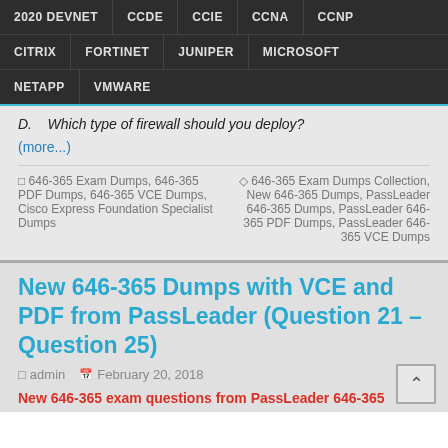2020 DEVNET  CCDE  CCIE  CCNA  CCNP  CITRIX  FORTINET  JUNIPER  MICROSOFT  NETAPP  VMWARE
D.    Which type of firewall should you deploy?
(more...)
□ 646-365 Exam Dumps, 646-365 PDF Dumps, 646-365 VCE Dumps, Cisco Express Foundation Specialist Dumps
◇ 646-365 Exam Dumps Collection, New 646-365 Dumps, PassLeader 646-365 Dumps, PassLeader 646-365 PDF Dumps, PassLeader 646-365 VCE Dumps
New 646-365 Dumps with VCE and PDF from PassLeader (Question 21 – Question 25)
admin  February 20, 2018
New 646-365 exam questions from PassLeader 646-365